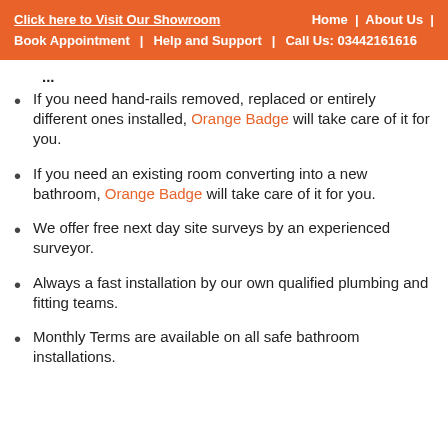Click here to Visit Our Showroom | Home | About Us | Book Appointment | Help and Support | Call Us: 03442161616
If you need hand-rails removed, replaced or entirely different ones installed, Orange Badge will take care of it for you.
If you need an existing room converting into a new bathroom, Orange Badge will take care of it for you.
We offer free next day site surveys by an experienced surveyor.
Always a fast installation by our own qualified plumbing and fitting teams.
Monthly Terms are available on all safe bathroom installations.